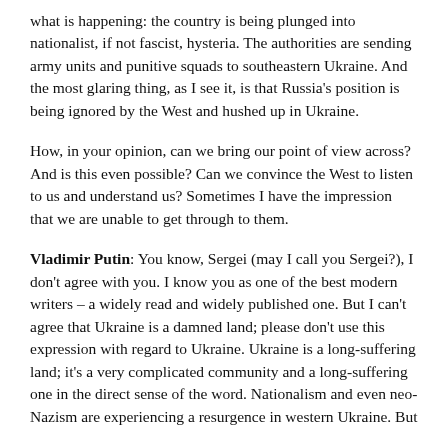what is happening: the country is being plunged into nationalist, if not fascist, hysteria. The authorities are sending army units and punitive squads to southeastern Ukraine. And the most glaring thing, as I see it, is that Russia's position is being ignored by the West and hushed up in Ukraine.
How, in your opinion, can we bring our point of view across? And is this even possible? Can we convince the West to listen to us and understand us? Sometimes I have the impression that we are unable to get through to them.
Vladimir Putin: You know, Sergei (may I call you Sergei?), I don't agree with you. I know you as one of the best modern writers – a widely read and widely published one. But I can't agree that Ukraine is a damned land; please don't use this expression with regard to Ukraine. Ukraine is a long-suffering land; it's a very complicated community and a long-suffering one in the direct sense of the word. Nationalism and even neo-Nazism are experiencing a resurgence in western Ukraine. But